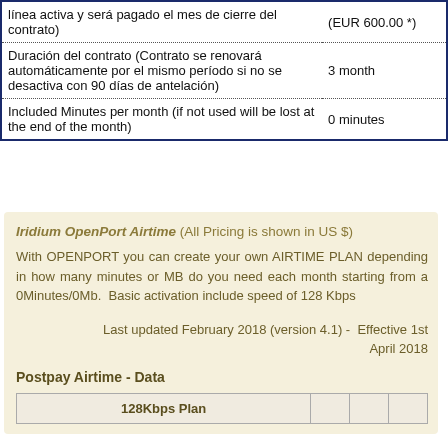|  |  |
| --- | --- |
| línea activa y será pagado el mes de cierre del contrato) | (EUR 600.00 *) |
| Duración del contrato (Contrato se renovará automáticamente por el mismo período si no se desactiva con 90 días de antelación) | 3 month |
| Included Minutes per month (if not used will be lost at the end of the month) | 0 minutes |
Iridium OpenPort Airtime  (All Pricing is shown in US $)
With OPENPORT you can create your own AIRTIME PLAN depending in how many minutes or MB do you need each month starting from a 0Minutes/0Mb.  Basic activation include speed of 128 Kbps
Last updated February 2018 (version 4.1) -  Effective 1st April 2018
Postpay Airtime - Data
| 128Kbps Plan |  |  |  |
| --- | --- | --- | --- |